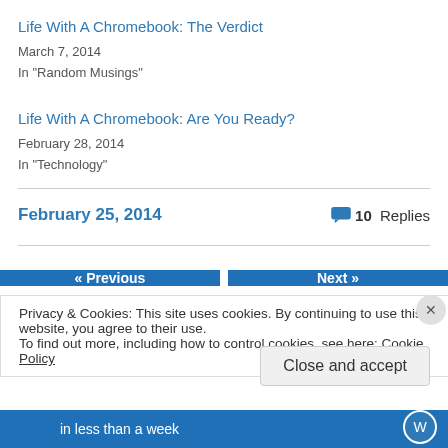Life With A Chromebook: The Verdict
March 7, 2014
In "Random Musings"
Life With A Chromebook: Are You Ready?
February 28, 2014
In "Technology"
February 25, 2014
10 Replies
« Previous
Next »
Privacy & Cookies: This site uses cookies. By continuing to use this website, you agree to their use.
To find out more, including how to control cookies, see here: Cookie Policy
Close and accept
in less than a week